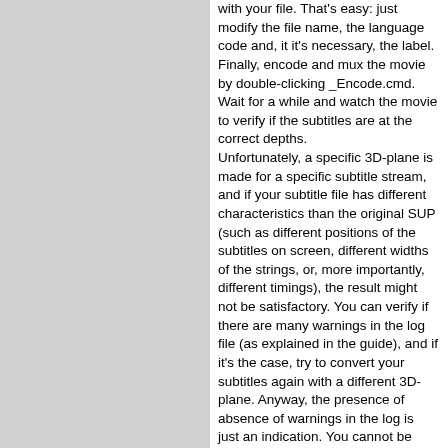with your file. That's easy: just modify the file name, the language code and, it it's necessary, the label.
Finally, encode and mux the movie by double-clicking _Encode.cmd. Wait for a while and watch the movie to verify if the subtitles are at the correct depths.
Unfortunately, a specific 3D-plane is made for a specific subtitle stream, and if your subtitle file has different characteristics than the original SUP (such as different positions of the subtitles on screen, different widths of the strings, or, more importantly, different timings), the result might not be satisfactory. You can verify if there are many warnings in the log file (as explained in the guide), and if it's the case, try to convert your subtitles again with a different 3D-plane. Anyway, the presence of absence of warnings in the log is just an indication. You cannot be sure that the depths will be correct even when there are no warnings. The only way to do it perfectly is by trials and errors. Note also that you can